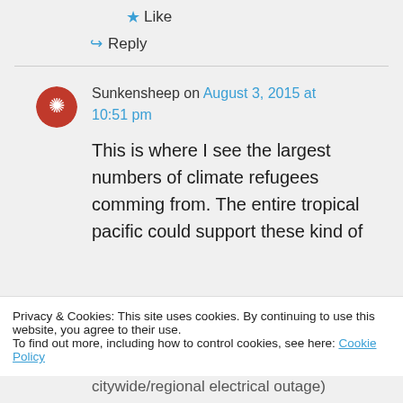★ Like
↪ Reply
Sunkensheep on August 3, 2015 at 10:51 pm
This is where I see the largest numbers of climate refugees comming from. The entire tropical pacific could support these kind of
Privacy & Cookies: This site uses cookies. By continuing to use this website, you agree to their use.
To find out more, including how to control cookies, see here: Cookie Policy
Close and accept
citywide/regional electrical outage)